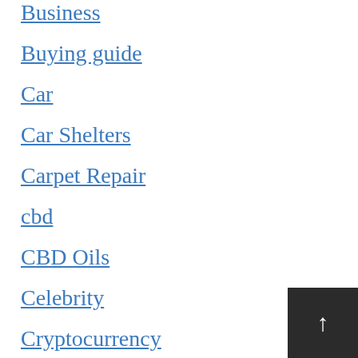Business
Buying guide
Car
Car Shelters
Carpet Repair
cbd
CBD Oils
Celebrity
Cryptocurrency
Doctors
Education
Electronics
Entertainment
Exclusive
Fashion
Gadgets